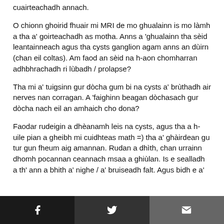cuairteachadh annach.
O chionn ghoirid fhuair mi MRI de mo ghualainn is mo làmh a tha a' goirteachadh as motha. Anns a 'ghualainn tha sèid leantainneach agus tha cysts ganglion agam anns an dùirn (chan eil coltas). Am faod an sèid na h-aon chomharran adhbhrachadh ri lùbadh / prolapse?
Tha mi a' tuigsinn gur dòcha gum bi na cysts a' brùthadh air nerves nan corragan. A 'faighinn beagan dòchasach gur dòcha nach eil an amhaich cho dona?
Faodar rudeigin a dhèanamh leis na cysts, agus tha a h-uile pian a gheibh mi cuidhteas math =) tha a' ghàirdean gu tur gun fheum aig amannan. Rudan a dhìth, chan urrainn dhomh pocannan ceannach msaa a ghiùlan. Is e sealladh a th' ann a bhith a' nighe / a' bruiseadh falt. Agus bidh e a'
Facebook Twitter Email